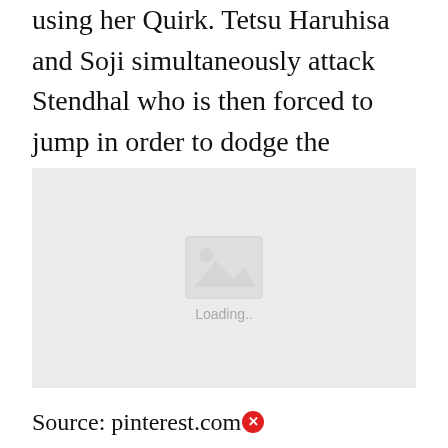using her Quirk. Tetsu Haruhisa and Soji simultaneously attack Stendhal who is then forced to jump in order to dodge the barrage of attacks.
[Figure (photo): Image placeholder with loading indicator showing a mountain/landscape icon and 'Loading..' text on a light grey background]
Source: pinterest.com